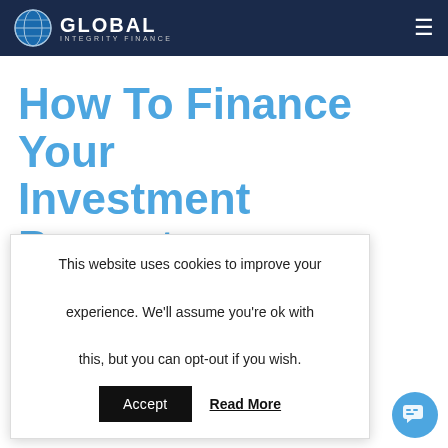GLOBAL INTEGRITY FINANCE
How To Finance Your Investment Property
Getting into the property market the right way to finance seem overwhelming at first however, no matter your
This website uses cookies to improve your experience. We'll assume you're ok with this, but you can opt-out if you wish.
Accept  Read More